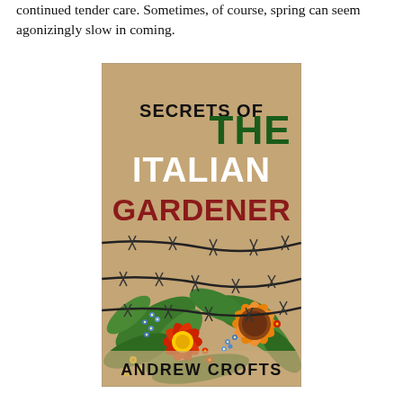continued tender care. Sometimes, of course, spring can seem agonizingly slow in coming.
[Figure (illustration): Book cover of 'Secrets of The Italian Gardener' by Andrew Crofts. Tan/kraft paper background with colorful flowers (red, blue, yellow, orange) and barbed wire illustrated across the cover. Title text: 'SECRETS OF THE ITALIAN GARDENER' in dark green, white, and dark red. Author name 'ANDREW CROFTS' in dark text at the bottom.]